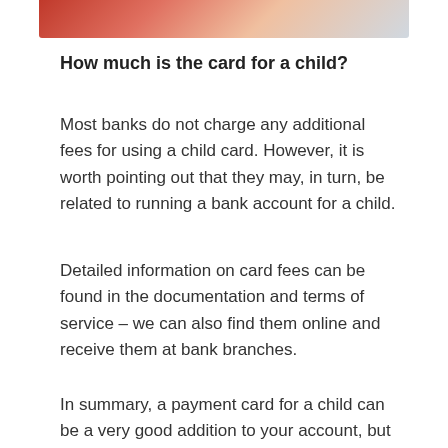[Figure (photo): Partial photo strip at top of page showing children, partially cropped]
How much is the card for a child?
Most banks do not charge any additional fees for using a child card. However, it is worth pointing out that they may, in turn, be related to running a bank account for a child.
Detailed information on card fees can be found in the documentation and terms of service – we can also find them online and receive them at bank branches.
In summary, a payment card for a child can be a very good addition to your account, but